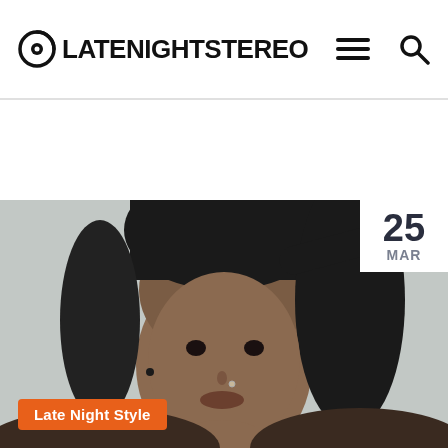LATENIGHTSTEREO
[Figure (photo): Close-up portrait photo of a young Black woman with long dreadlocks pulled back, looking directly at the camera against a light gray background. She has a small nose ring and stud earring.]
25 MAR
Late Night Style